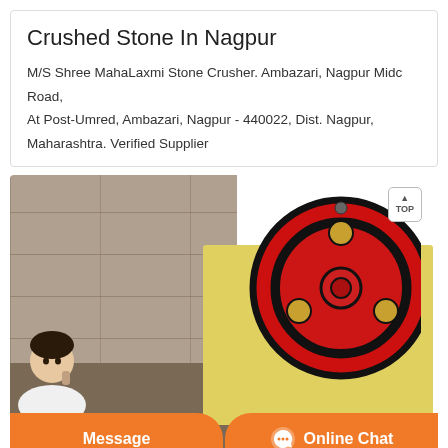Crushed Stone In Nagpur
M/S Shree MahaLaxmi Stone Crusher. Ambazari, Nagpur Midc Road, At Post-Umred, Ambazari, Nagpur - 440022, Dist. Nagpur, Maharashtra. Verified Supplier
[Figure (photo): Photo of a stone crushing machine (jaw crusher) with a red flywheel, yellow body, set against a background of rough stone blocks.]
Message
Online Chat